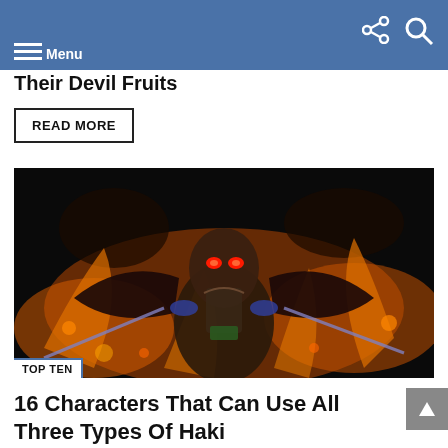Menu
Their Devil Fruits
READ MORE
[Figure (photo): Anime character with red glowing eyes surrounded by fire and black wings, dramatic dark background — One Piece fan art]
TOP TEN
16 Characters That Can Use All Three Types Of Haki